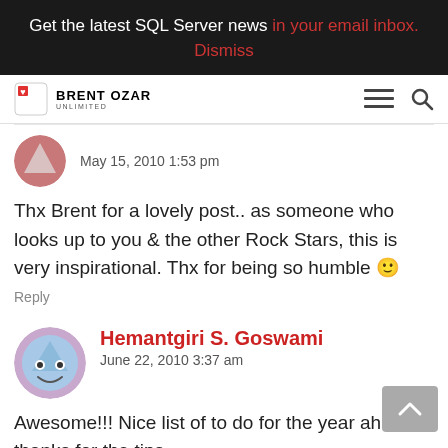Get the latest SQL Server news in your email inbox. Dismiss
[Figure (logo): Brent Ozar Unlimited logo with navigation icons]
May 15, 2010 1:53 pm
Thx Brent for a lovely post.. as someone who looks up to you & the other Rock Stars, this is very inspirational. Thx for being so humble 🙂
Reply
Hemantgiri S. Goswami
June 22, 2010 3:37 am
Awesome!!! Nice list of to do for the year ahead, thanks for the tips.
Reply